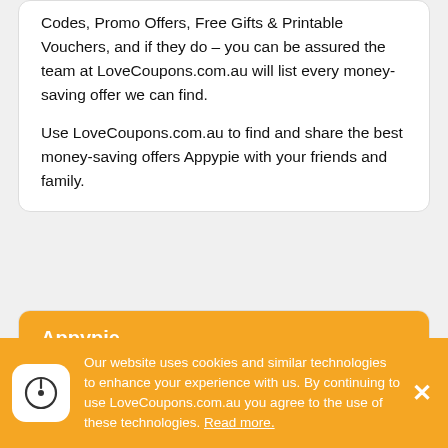Codes, Promo Offers, Free Gifts & Printable Vouchers, and if they do – you can be assured the team at LoveCoupons.com.au will list every money-saving offer we can find.

Use LoveCoupons.com.au to find and share the best money-saving offers Appypie with your friends and family.
Appypie
Appypie is a no-code platform. It is Appypie's mission to democratise application development and technology by empowering
Our website uses cookies and similar technologies to enhance your experience with us. By continuing to use LoveCoupons.com.au you agree to the use of these technologies. Read more.